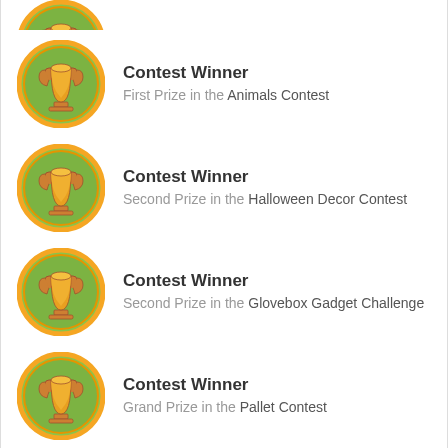[Figure (illustration): Partial trophy badge (green circle with orange trophy icon, cropped at top)]
Contest Winner
First Prize in the Animals Contest
Contest Winner
Second Prize in the Halloween Decor Contest
Contest Winner
Second Prize in the Glovebox Gadget Challenge
Contest Winner
Grand Prize in the Pallet Contest
Contest Winner
First Prize in the Lamps and Lighting